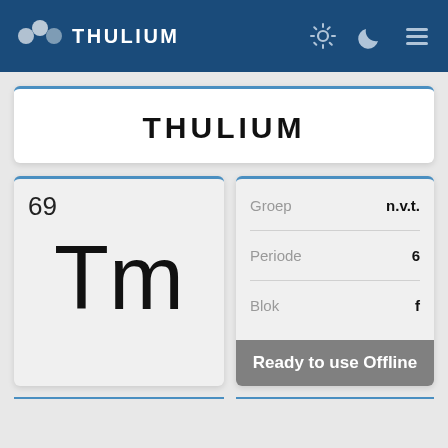THULIUM
THULIUM
69
Tm
|  |  |
| --- | --- |
| Groep | n.v.t. |
| Periode | 6 |
| Blok | f |
Ready to use Offline